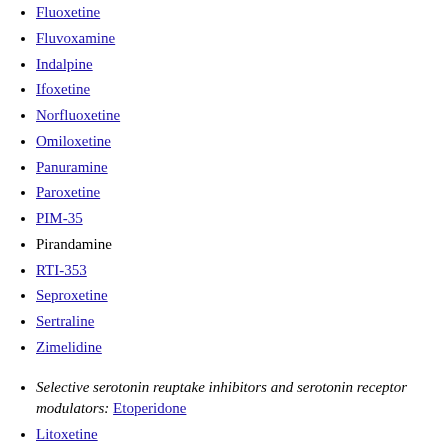Fluoxetine
Fluvoxamine
Indalpine
Ifoxetine
Norfluoxetine
Omiloxetine
Panuramine
Paroxetine
PIM-35
Pirandamine
RTI-353
Seproxetine
Sertraline
Zimelidine
Selective serotonin reuptake inhibitors and serotonin receptor modulators: Etoperidone
Litoxetine
Lubazodone
LY-393558
Quipazine
SB-649915
TGBA01AD
Trazodone
Vilazodone